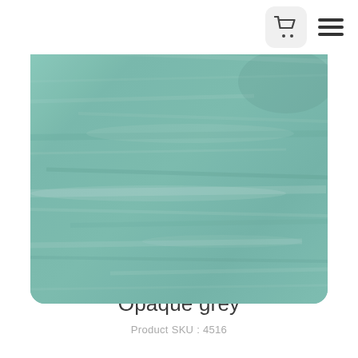[Figure (photo): A teal/sage green painted or stained surface with horizontal wood grain texture visible. The color is a muted, soft opaque grey-green. The image is displayed in a rounded-corner square format.]
Opaque grey
Product SKU : 4516